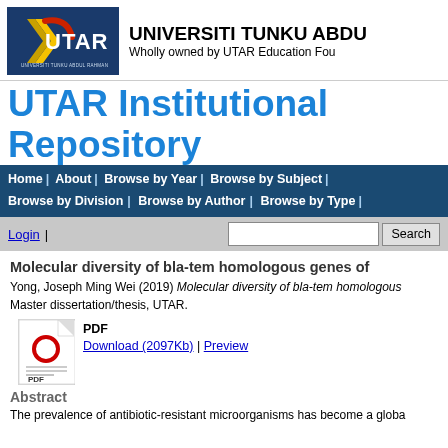[Figure (logo): UTAR university logo with text UTAR in white on dark blue background with colored arrow accent]
UNIVERSITI TUNKU ABDU
Wholly owned by UTAR Education Fou
UTAR Institutional Repository
Home | About | Browse by Year | Browse by Subject | Browse by Division | Browse by Author | Browse by Type |
Login | [search box] Search
Molecular diversity of bla-tem homologous genes of
Yong, Joseph Ming Wei (2019) Molecular diversity of bla-tem homologous... Master dissertation/thesis, UTAR.
PDF
Download (2097Kb) | Preview
Abstract
The prevalence of antibiotic-resistant microorganisms has become a globa